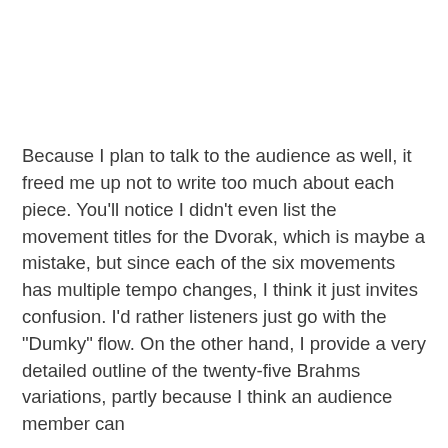Because I plan to talk to the audience as well, it freed me up not to write too much about each piece. You'll notice I didn't even list the movement titles for the Dvorak, which is maybe a mistake, but since each of the six movements has multiple tempo changes, I think it just invites confusion. I'd rather listeners just go with the "Dumky" flow. On the other hand, I provide a very detailed outline of the twenty-five Brahms variations, partly because I think an audience member can